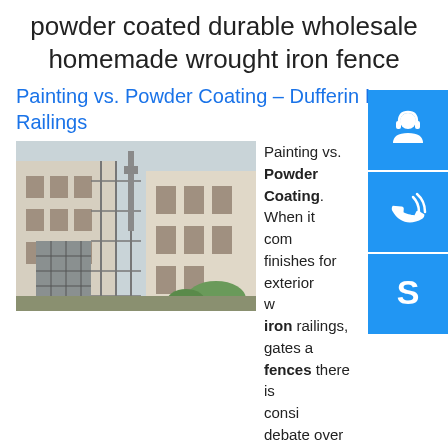powder coated durable wholesale homemade wrought iron fence
Painting vs. Powder Coating – Dufferin Iron Railings
[Figure (photo): Exterior building with wrought iron railings, scaffolding, and a tower in background]
Painting vs. Powder Coating. When it comes to finishes for exterior wrought iron railings, gates and fences there is considerable debate over whether it is preferable to go with a painted finish or with a powder coating. And if you ask us which one we think is better, the answer has to …sp.info powder coated durable homemade wrought iron fence - … powder coated durable homemade wrought iron fencePowder Coating Flakes - by Olson Iron - Wrought